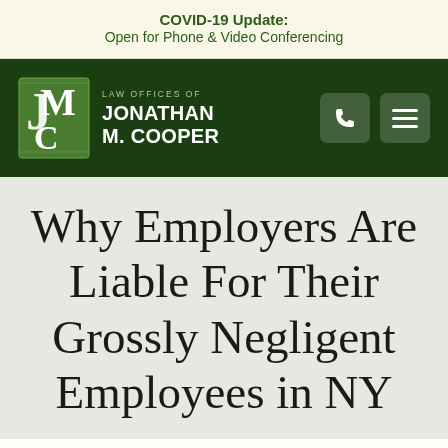COVID-19 Update: Open for Phone & Video Conferencing
[Figure (logo): Law Offices of Jonathan M. Cooper logo with JMC monogram in green and white on dark green navigation bar]
Why Employers Are Liable For Their Grossly Negligent Employees in NY